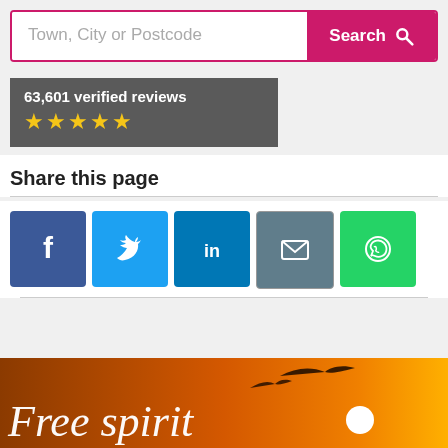[Figure (screenshot): Search bar with placeholder 'Town, City or Postcode' and pink 'Search' button with magnifying glass icon]
63,601 verified reviews ★★★★★
Share this page
[Figure (infographic): Social media sharing icons: Facebook, Twitter, LinkedIn, Email, WhatsApp]
[Figure (photo): Free spirit banner — silhouette of bird against orange sunset, text reads 'Free spirit']